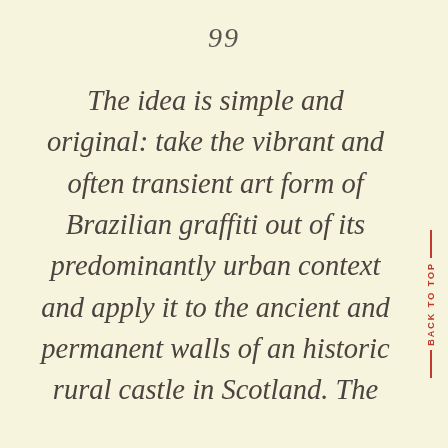99
The idea is simple and original: take the vibrant and often transient art form of Brazilian graffiti out of its predominantly urban context and apply it to the ancient and permanent walls of an historic rural castle in Scotland. The